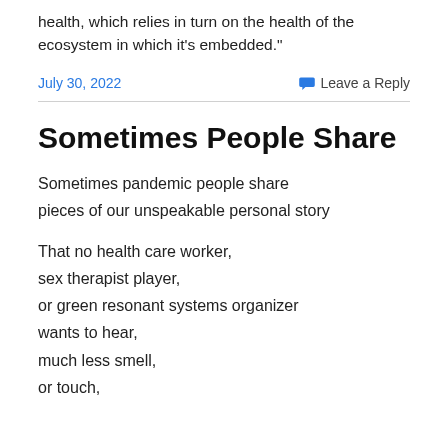health, which relies in turn on the health of the ecosystem in which it's embedded."
July 30, 2022
Leave a Reply
Sometimes People Share
Sometimes pandemic people share
pieces of our unspeakable personal story
That no health care worker,
sex therapist player,
or green resonant systems organizer
wants to hear,
much less smell,
or touch,